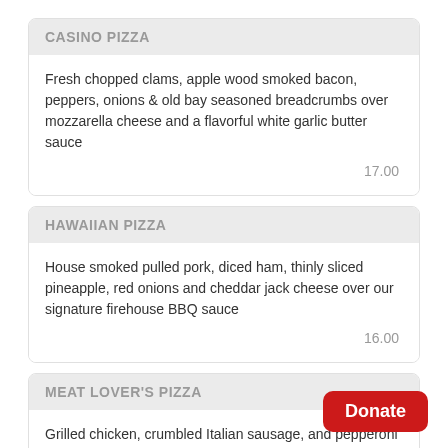CASINO PIZZA
Fresh chopped clams, apple wood smoked bacon, peppers, onions & old bay seasoned breadcrumbs over mozzarella cheese and a flavorful white garlic butter sauce
17.00
HAWAIIAN PIZZA
House smoked pulled pork, diced ham, thinly sliced pineapple, red onions and cheddar jack cheese over our signature firehouse BBQ sauce
16.00
MEAT LOVER'S PIZZA
Grilled chicken, crumbled Italian sausage, and pepperoni with banana peppers. Finished with